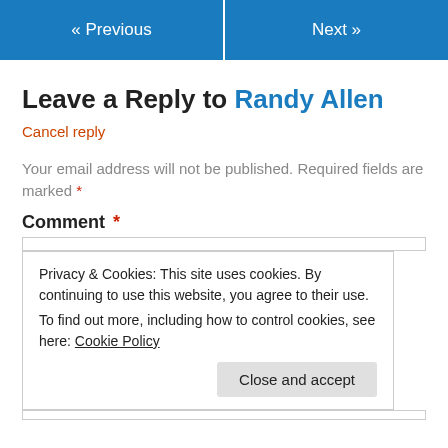« Previous
Next »
Leave a Reply to Randy Allen
Cancel reply
Your email address will not be published. Required fields are marked *
Comment *
Privacy & Cookies: This site uses cookies. By continuing to use this website, you agree to their use.
To find out more, including how to control cookies, see here: Cookie Policy
Close and accept